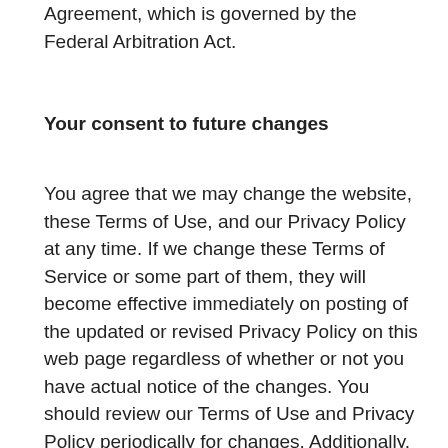Agreement, which is governed by the Federal Arbitration Act.
Your consent to future changes
You agree that we may change the website, these Terms of Use, and our Privacy Policy at any time. If we change these Terms of Service or some part of them, they will become effective immediately on posting of the updated or revised Privacy Policy on this web page regardless of whether or not you have actual notice of the changes. You should review our Terms of Use and Privacy Policy periodically for changes. Additionally, you agree that any use of the website following our publication of any changes to these Terms of Service or Privacy Policy will expressly reaffirm